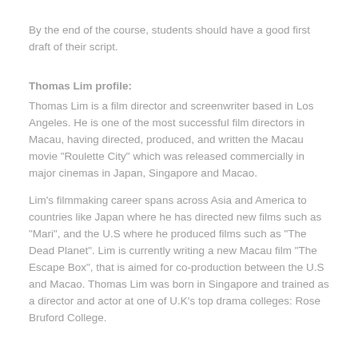By the end of the course, students should have a good first draft of their script.
Thomas Lim profile:
Thomas Lim is a film director and screenwriter based in Los Angeles. He is one of the most successful film directors in Macau, having directed, produced, and written the Macau movie "Roulette City" which was released commercially in major cinemas in Japan, Singapore and Macao.
Lim's filmmaking career spans across Asia and America to countries like Japan where he has directed new films such as "Mari", and the U.S where he produced films such as "The Dead Planet". Lim is currently writing a new Macau film "The Escape Box", that is aimed for co-production between the U.S and Macao. Thomas Lim was born in Singapore and trained as a director and actor at one of U.K's top drama colleges: Rose Bruford College.